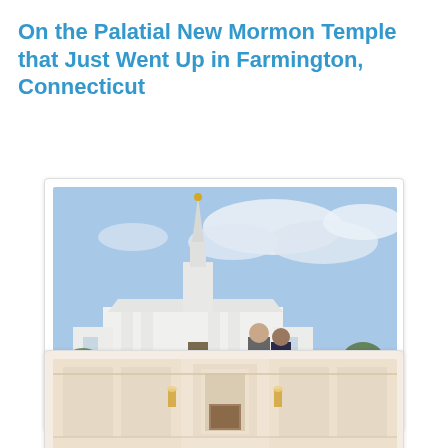On the Palatial New Mormon Temple that Just Went Up in Farmington, Connecticut
[Figure (photo): Two people (a man in a suit and a woman) standing in front of the white Mormon Temple in Farmington, Connecticut, which has a tall steeple with a gold angel on top and a fountain in the foreground, under a partly cloudy sky.]
[Figure (photo): Interior of the Mormon Temple showing a bright, elegant white room with tall decorative doors, wall sconces, and a framed religious painting on the wall.]